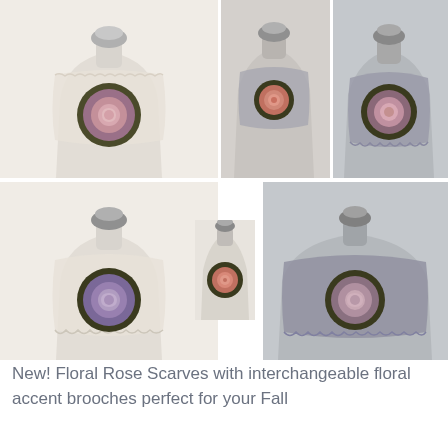[Figure (photo): Collage of six mannequin torsos displaying crocheted floral rose scarves in cream/beige and gray colorways, each featuring an interchangeable floral brooch accent in pink/mauve and coral/orange tones on dark olive/brown bases. Top row shows three mannequins (cream with large pink rose brooch, small gray with coral brooch, gray with pink rose brooch). Bottom row shows three mannequins (cream with purple rose brooch, small with coral brooch, gray with mauve/pink rose brooch).]
New! Floral Rose Scarves with interchangeable floral accent brooches perfect for your Fall